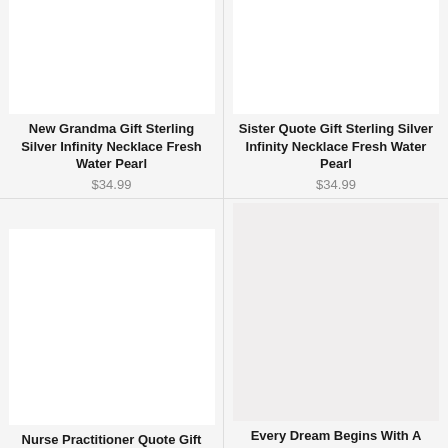[Figure (photo): Product image placeholder for New Grandma Gift Sterling Silver Infinity Necklace Fresh Water Pearl]
New Grandma Gift Sterling Silver Infinity Necklace Fresh Water Pearl
$34.99
[Figure (photo): Product image placeholder for Sister Quote Gift Sterling Silver Infinity Necklace Fresh Water Pearl]
Sister Quote Gift Sterling Silver Infinity Necklace Fresh Water Pearl
$34.99
[Figure (photo): Product image placeholder for Nurse Practitioner Quote Gift Fresh Water Pearl Sterling Silver Infinity Necklace]
Nurse Practitioner Quote Gift Fresh Water Pearl Sterling Silver Infinity Necklace
$34.99
[Figure (photo): Product image placeholder for Every Dream Begins With A Wish Sterling Silver Dandelion Necklace]
Every Dream Begins With A Wish Sterling Silver Dandelion Necklace
$39.99